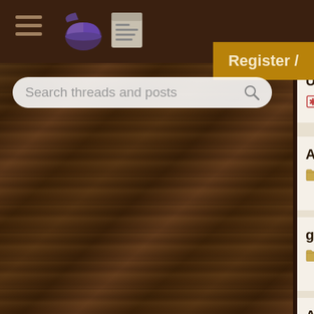Forum navigation header with hamburger menu, pie icon, news icon, and Register button
Search threads and posts
Updated servlets assign — 38 replies
A beginner desperately n — 8 replies
gvm doesn't seem to like — 2 replies
Angular project gives thi — 1 reply
I can't start tomcat servi